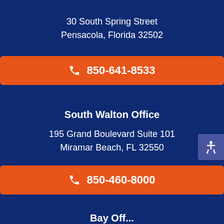30 South Spring Street
Pensacola, Florida 32502
850-641-8533
South Walton Office
195 Grand Boulevard Suite 101
Miramar Beach, FL 32550
850-460-8000
Bav Off...